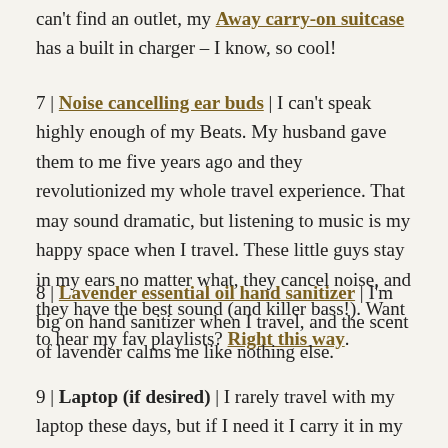can't find an outlet, my Away carry-on suitcase has a built in charger – I know, so cool!
7 | Noise cancelling ear buds | I can't speak highly enough of my Beats. My husband gave them to me five years ago and they revolutionized my whole travel experience. That may sound dramatic, but listening to music is my happy space when I travel. These little guys stay in my ears no matter what, they cancel noise, and they have the best sound (and killer bass!). Want to hear my fav playlists? Right this way.
8 | Lavender essential oil hand sanitizer | I'm big on hand sanitizer when I travel, and the scent of lavender calms me like nothing else.
9 | Laptop (if desired) | I rarely travel with my laptop these days, but if I need it I carry it in my travel tote.